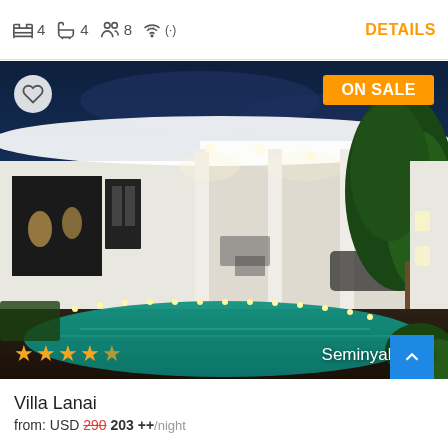4 bedrooms, 4 bathrooms, 8 guests, WiFi — DETAILS
[Figure (photo): Night photo of Villa Lanai in Seminyak, Bali. A luxury villa with white walls, columns, an illuminated swimming pool with candles, lush greenery, and dark blue evening sky. ON SALE badge top right. Heart icon top left. 4.5 star rating bottom left. Location label 'Seminyak, Bali' bottom right.]
Villa Lanai
from: USD 290 203 ++/night